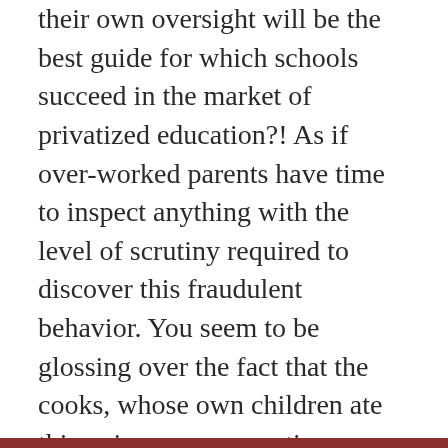their own oversight will be the best guide for which schools succeed in the market of privatized education?! As if over-worked parents have time to inspect anything with the level of scrutiny required to discover this fraudulent behavior. You seem to be glossing over the fact that the cooks, whose own children ate this poisonous concoction, were in the best position to